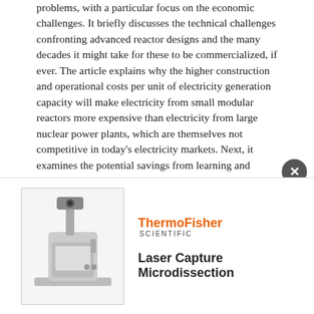problems, with a particular focus on the economic challenges. It briefly discusses the technical challenges confronting advanced reactor designs and the many decades it might take for these to be commercialized, if ever. The article explains why the higher construction and operational costs per unit of electricity generation capacity will make electricity from small modular reactors more expensive than electricity from large nuclear power plants, which are themselves not competitive in today's electricity markets. Next, it examines the potential savings from learning and modular construction, and explains why the historical record suggests that these savings will be inadequate to compensate for the economic challenges resulting from the lower generation capacity. It then critically examines arguments offered by advocates of these technologies about job creation and other potential uses of energy generated from these plants to justify subsidizing and constructing these kinds of nuclear plants. It concludes with an assessment of the markets for these technologies, suggesting that these are inadequate to justify
[Figure (photo): Advertisement showing a Thermo Fisher Scientific Laser Capture Microdissection instrument. The device is a laboratory microscope-like instrument in grey/silver color. The Thermo Fisher Scientific logo appears in orange and black text. The product name 'Laser Capture Microdissection' is shown in bold text.]